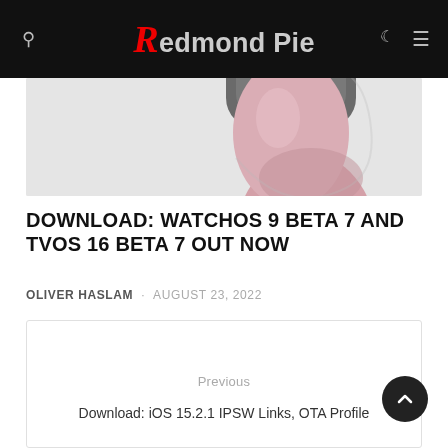Redmond Pie
[Figure (photo): Apple Watch with pink band, partial view on light gray background]
DOWNLOAD: WATCHOS 9 BETA 7 AND TVOS 16 BETA 7 OUT NOW
OLIVER HASLAM · AUGUST 23, 2022
Previous
Download: iOS 15.2.1 IPSW Links, OTA Profile